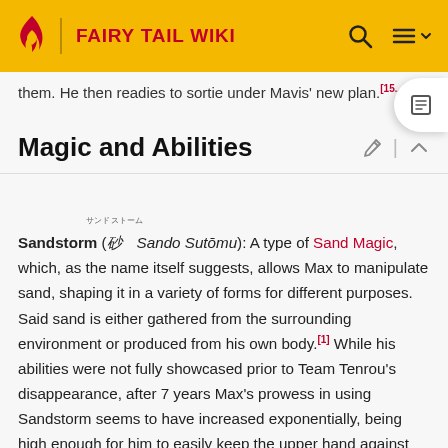FAIRY TAIL WIKI
them. He then readies to sortie under Mavis' new plan.[15...]
Magic and Abilities
Sandstorm (サンドストーム Sando Sutōmu): A type of Sand Magic, which, as the name itself suggests, allows Max to manipulate sand, shaping it in a variety of forms for different purposes. Said sand is either gathered from the surrounding environment or produced from his own body.[1] While his abilities were not fully showcased prior to Team Tenrou's disappearance, after 7 years Max's prowess in using Sandstorm seems to have increased exponentially, being high enough for him to easily keep the upper hand against Natsu Dragneel, acknowledged as